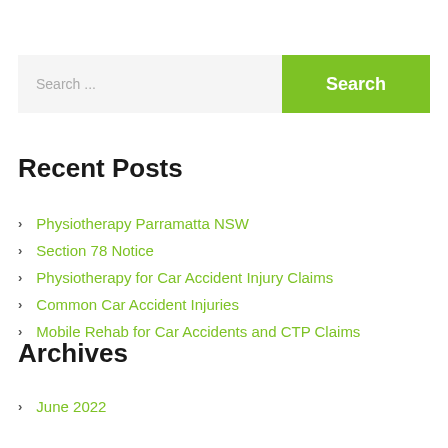[Figure (other): Search bar with text input field labeled 'Search ...' and a green 'Search' button]
Recent Posts
Physiotherapy Parramatta NSW
Section 78 Notice
Physiotherapy for Car Accident Injury Claims
Common Car Accident Injuries
Mobile Rehab for Car Accidents and CTP Claims
Archives
June 2022